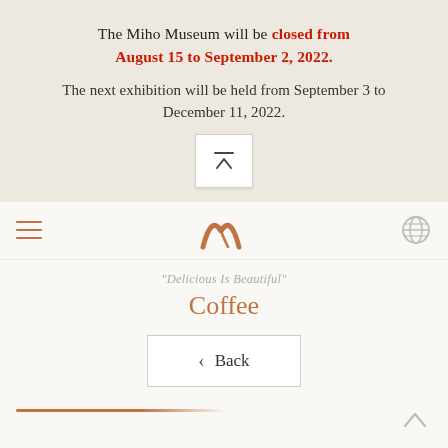The Miho Museum will be closed from August 15 to September 2, 2022.
The next exhibition will be held from September 3 to December 11, 2022.
[Figure (other): White square button with up-arrow / scroll-to-top icon (horizontal line over chevron up)]
[Figure (other): Navigation bar with hamburger menu icon (three horizontal lines, brown), Miho Museum stylized M logo in bronze/brown center, and globe/language icon on right]
"Delicious Is Beautiful"
Coffee
[Figure (other): Back button: white rectangle with border containing left chevron arrow and the word Back]
[Figure (other): Brown/amber horizontal decorative line at bottom left]
[Figure (other): Scroll-to-top chevron icon at bottom right corner]